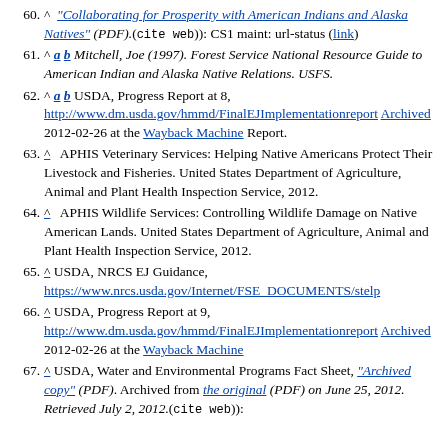60. ^ "Collaborating for Prosperity with American Indians and Alaska Natives" (PDF).((cite web)): CS1 maint: url-status (link)
61. ^ a b Mitchell, Joe (1997). Forest Service National Resource Guide to American Indian and Alaska Native Relations. USFS.
62. ^ a b USDA, Progress Report at 8, http://www.dm.usda.gov/hmmd/FinalEJImplementationreport Archived 2012-02-26 at the Wayback Machine Report.
63. ^ APHIS Veterinary Services: Helping Native Americans Protect Their Livestock and Fisheries. United States Department of Agriculture, Animal and Plant Health Inspection Service, 2012.
64. ^ APHIS Wildlife Services: Controlling Wildlife Damage on Native American Lands. United States Department of Agriculture, Animal and Plant Health Inspection Service, 2012.
65. ^ USDA, NRCS EJ Guidance, https://www.nrcs.usda.gov/Internet/FSE_DOCUMENTS/stelp
66. ^ USDA, Progress Report at 9, http://www.dm.usda.gov/hmmd/FinalEJImplementationreport Archived 2012-02-26 at the Wayback Machine
67. ^ USDA, Water and Environmental Programs Fact Sheet, "Archived copy" (PDF). Archived from the original (PDF) on June 25, 2012. Retrieved July 2, 2012.((cite web)):